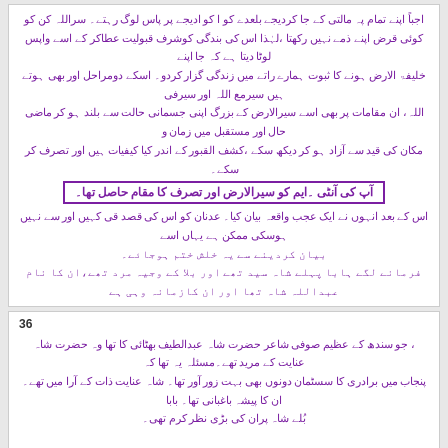Urdu text block (top section) - continuation of narrative in Urdu/Nastaliq script in purple color, right-to-left, with a highlighted boxed line in the middle.
Section 36 - Urdu text block (bottom section) - narrative text in Urdu/Nastaliq script in purple color, right-to-left.